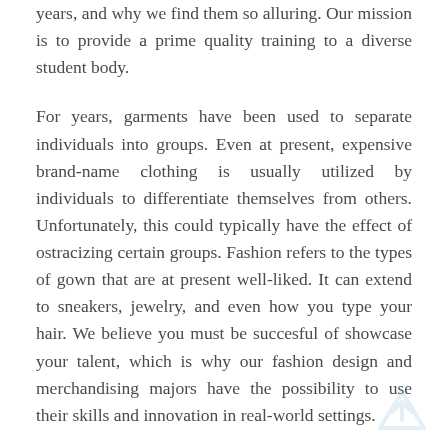years, and why we find them so alluring. Our mission is to provide a prime quality training to a diverse student body.
For years, garments have been used to separate individuals into groups. Even at present, expensive brand-name clothing is usually utilized by individuals to differentiate themselves from others. Unfortunately, this could typically have the effect of ostracizing certain groups. Fashion refers to the types of gown that are at present well-liked. It can extend to sneakers, jewelry, and even how you type your hair. We believe you must be succesful of showcase your talent, which is why our fashion design and merchandising majors have the possibility to use their skills and innovation in real-world settings.